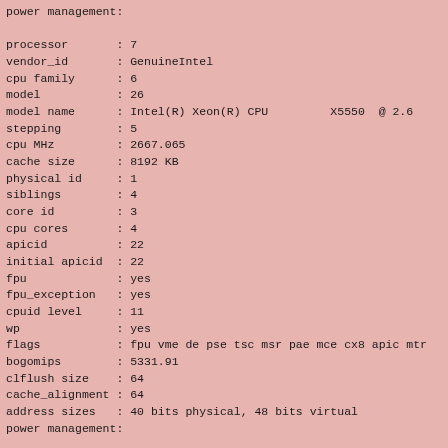power management:

processor       : 7
vendor_id       : GenuineIntel
cpu family      : 6
model           : 26
model name      : Intel(R) Xeon(R) CPU         X5550  @ 2.6
stepping        : 5
cpu MHz         : 2667.065
cache size      : 8192 KB
physical id     : 1
siblings        : 4
core id         : 3
cpu cores       : 4
apicid          : 22
initial apicid  : 22
fpu             : yes
fpu_exception   : yes
cpuid level     : 11
wp              : yes
flags           : fpu vme de pse tsc msr pae mce cx8 apic mtr
bogomips        : 5331.91
clflush size    : 64
cache_alignment : 64
address sizes   : 40 bits physical, 48 bits virtual
power management:


/proc/meminfo:
MemTotal:       32873844 kB
MemFree:        28622124 kB
Buffers:          291480 kB
Cached:          2931808 kB